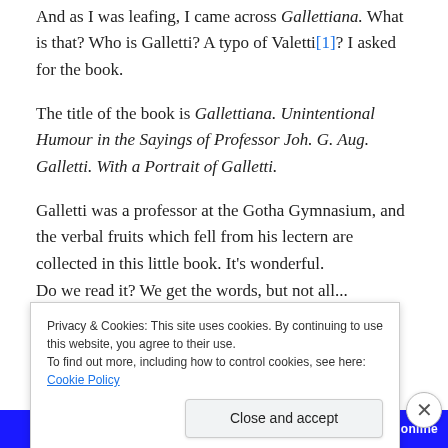And as I was leafing, I came across Gallettiana. What is that? Who is Galletti? A typo of Valetti[1]? I asked for the book.
The title of the book is Gallettiana. Unintentional Humour in the Sayings of Professor Joh. G. Aug. Galletti. With a Portrait of Galletti.
Galletti was a professor at the Gotha Gymnasium, and the verbal fruits which fell from his lectern are collected in this little book. It's wonderful.
Do we read it? We get the words, but not all...
Privacy & Cookies: This site uses cookies. By continuing to use this website, you agree to their use.
To find out more, including how to control cookies, see here: Cookie Policy
Close and accept